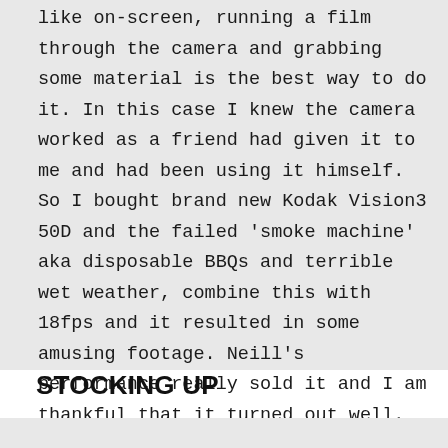like on-screen, running a film through the camera and grabbing some material is the best way to do it. In this case I knew the camera worked as a friend had given it to me and had been using it himself. So I bought brand new Kodak Vision3 50D and the failed 'smoke machine' aka disposable BBQs and terrible wet weather, combine this with 18fps and it resulted in some amusing footage. Neill's performance really sold it and I am thankful that it turned out well.
STOCKING UP